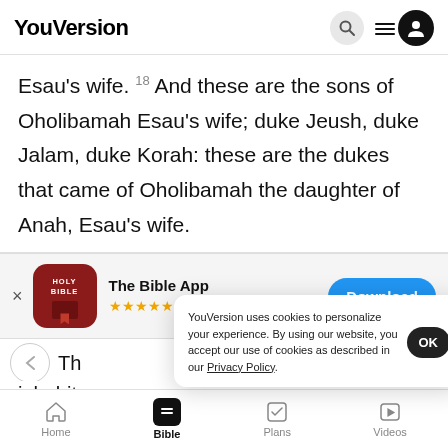YouVersion
Esau's wife. 18 And these are the sons of Oholibamah Esau's wife; duke Jeush, duke Jalam, duke Korah: these are the dukes that came of Oholibamah the daughter of Anah, Esau's wife.
[Figure (screenshot): App store banner for The Bible App with icon, 5 star rating 7.9M reviews, and Download button]
Th
inhabita
Zibeon and Anah, 41 and Dishon and Ezer and
YouVersion uses cookies to personalize your experience. By using our website, you accept our use of cookies as described in our Privacy Policy.
Home | Bible | Plans | Videos